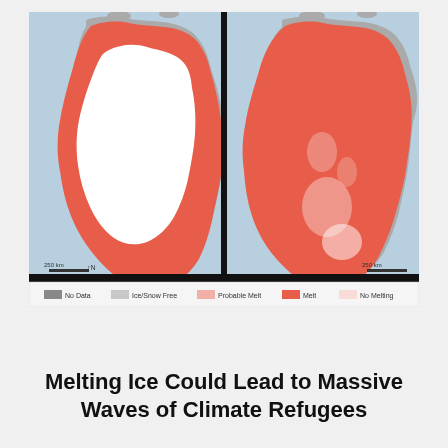[Figure (map): Side-by-side comparison maps of Greenland ice melt. Left map (2012) shows melting (red) primarily around the perimeter with a large white/unmelted interior. Right map (July 12, 2012) shows nearly the entire surface covered in red indicating Melt. A legend at the bottom shows categories: No Data (dark gray), Ice/Snow Free (light gray), Probable Melt (light red/pink), Melt (red), No Melting (pale pink/white).]
Melting Ice Could Lead to Massive Waves of Climate Refugees